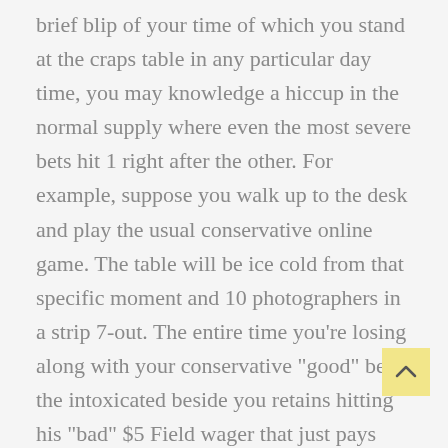brief blip of your time of which you stand at the craps table in any particular day time, you may knowledge a hiccup in the normal supply where even the most severe bets hit 1 right after the other. For example, suppose you walk up to the desk and play the usual conservative online game. The table will be ice cold from that specific moment and 10 photographers in a strip 7-out. The entire time you’re losing along with your conservative “good” bets, the intoxicated beside you retains hitting his “bad” $5 Field wager that just pays twin for your 2 plus 12. Be guaranteed, this guy’s very hot streak will soon end and then he’ll lose all their money.